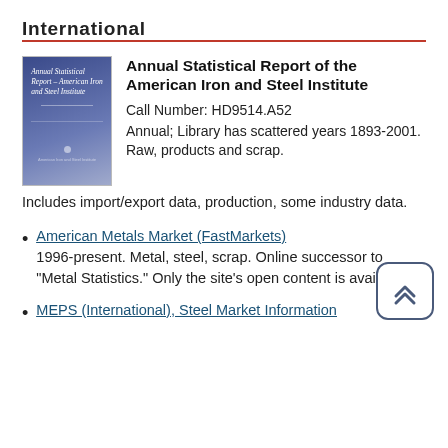International
[Figure (illustration): Book cover for Annual Statistical Report of the American Iron and Steel Institute — dark blue/purple gradient cover with italic white title text]
Annual Statistical Report of the American Iron and Steel Institute
Call Number: HD9514.A52
Annual; Library has scattered years 1893-2001. Raw, products and scrap. Includes import/export data, production, some industry data.
American Metals Market (FastMarkets)
1996-present. Metal, steel, scrap. Online successor to "Metal Statistics." Only the site's open content is available.
MEPS (International), Steel Market Information